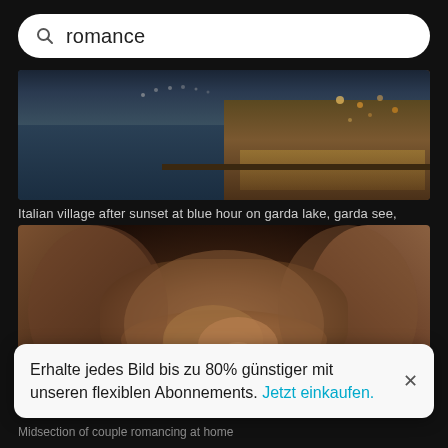romance
[Figure (photo): Italian village after sunset at blue hour on garda lake, waterfront with lights reflecting on water]
Italian village after sunset at blue hour on garda lake, garda see, limo...
[Figure (photo): Midsection of couple romancing at home - intertwined hands and legs in dark intimate setting]
Erhalte jedes Bild bis zu 80% günstiger mit unseren flexiblen Abonnements. Jetzt einkaufen.
Midsection of couple romancing at home